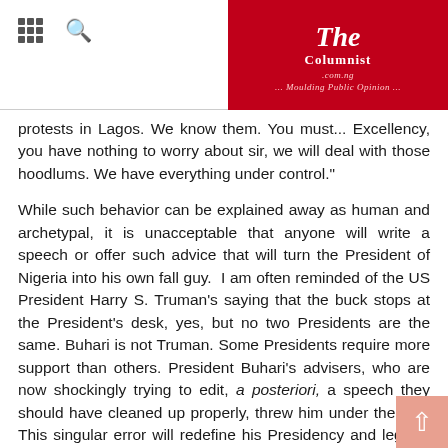The Columnist .com.ng ... Moulding Public Opinion ...
protests in Lagos. We know them. You must... Excellency, you have nothing to worry about sir, we will deal with those hoodlums. We have everything under control."
While such behavior can be explained away as human and archetypal, it is unacceptable that anyone will write a speech or offer such advice that will turn the President of Nigeria into his own fall guy. I am often reminded of the US President Harry S. Truman's saying that the buck stops at the President's desk, yes, but no two Presidents are the same. Buhari is not Truman. Some Presidents require more support than others. President Buhari's advisers, who are now shockingly trying to edit, a posteriori, a speech they should have cleaned up properly, threw him under the bus. This singular error will redefine his Presidency and legacy. The best way to understand the ineffectuality of that broadcast is to assess what happened after in Nigeria, and in terms of international response to the Nigerian situation.
Things simply got worse. It would in fact have been better if that broadcast had not been made. Before Black Tuesday, there had been